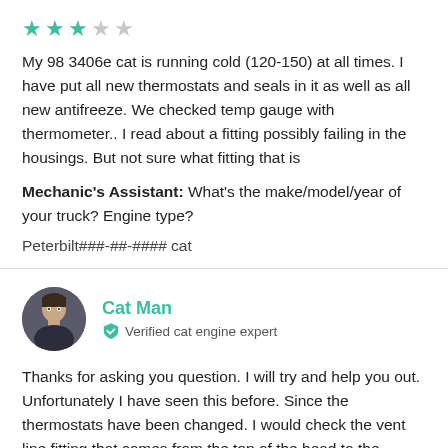[Figure (other): 3 filled teal stars and 2 empty gray stars rating]
My 98 3406e cat is running cold (120-150) at all times. I have put all new thermostats and seals in it as well as all new antifreeze. We checked temp gauge with thermometer.. I read about a fitting possibly failing in the housings. But not sure what fitting that is
Mechanic's Assistant: What's the make/model/year of your truck? Engine type?
Peterbilt###-##-#### cat
[Figure (photo): Round avatar photo of Cat Man expert]
Cat Man
Verified cat engine expert
Thanks for asking you question. I will try and help you out.
Unfortunately I have seen this before. Since the thermostats have been changed. I would check the vent line fitting that comes from the top of the head to the